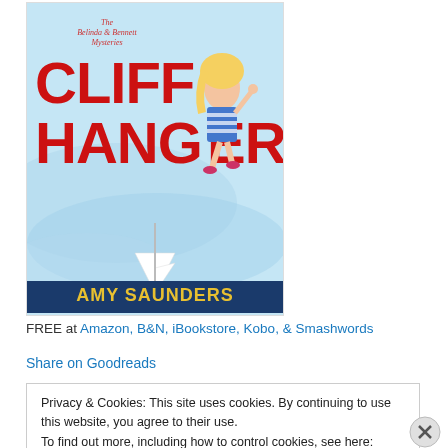[Figure (illustration): Book cover for 'Cliffhanger' by Amy Saunders. Part of 'The Belinda & Bennett Mysteries'. Shows a cartoon blonde woman in a striped outfit with large red text 'CLIFFHANGER', a sailboat, and 'Book One' label. Light blue background.]
FREE at Amazon, B&N, iBookstore, Kobo, & Smashwords
Share on Goodreads
Privacy & Cookies: This site uses cookies. By continuing to use this website, you agree to their use.
To find out more, including how to control cookies, see here: Cookie Policy
Close and accept